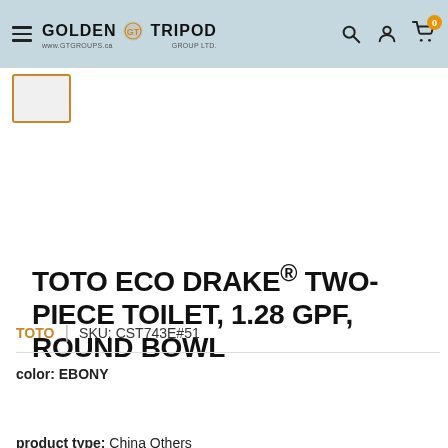GOLDEN TRIPOD GROUP LTD. | www.gtgroups.ca
TOTO ECO DRAKE® TWO-PIECE TOILET, 1.28 GPF, ROUND BOWL
Save $172.17
TOTO | SKU: CST743E#51
color: EBONY
EBONY
product type: China Others